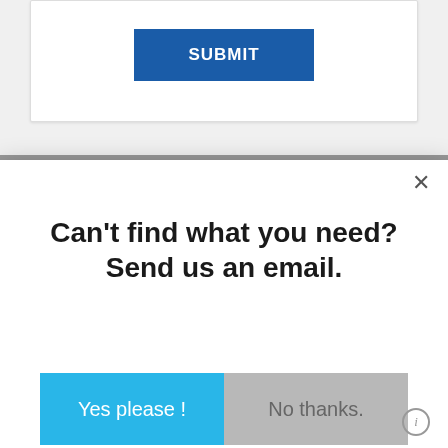[Figure (screenshot): Top portion of a web form with a blue SUBMIT button inside a white card on a light gray background.]
SUBMIT
[Figure (screenshot): Modal dialog overlay with close button (×), heading 'Can’t find what you need? Send us an email.', and two buttons: 'Yes please !' (cyan) and 'No thanks.' (gray).]
Can't find what you need? Send us an email.
Yes please !
No thanks.